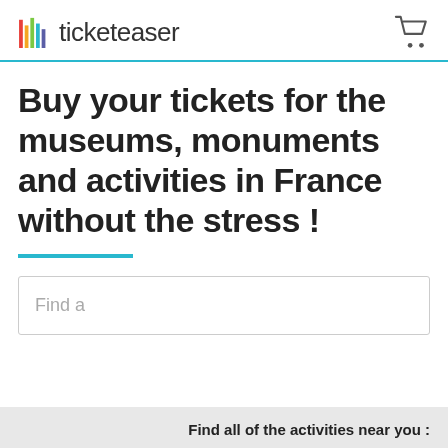ticketeaser
Buy your tickets for the museums, monuments and activities in France without the stress !
Find a
Find all of the activities near you :